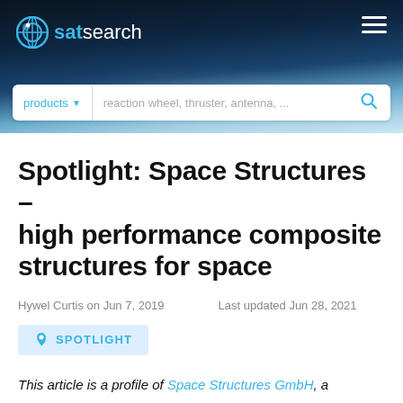[Figure (screenshot): satsearch website header with logo, hamburger menu, and search bar with 'products' dropdown and placeholder text 'reaction wheel, thruster, antenna, ...' on a space/earth background image]
Spotlight: Space Structures – high performance composite structures for space
Hywel Curtis on Jun 7, 2019   Last updated Jun 28, 2021
SPOTLIGHT
This article is a profile of Space Structures GmbH, a